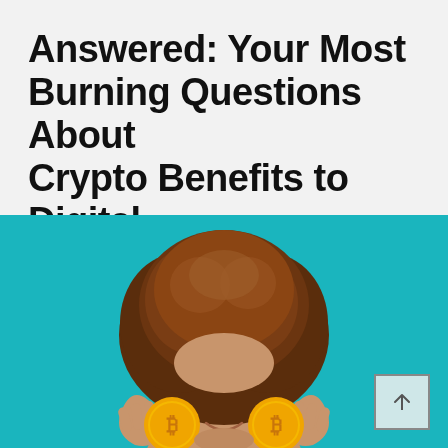Answered: Your Most Burning Questions About Crypto Benefits to Digital Nomads
[Figure (photo): A woman with curly hair holding two gold Bitcoin coins over her eyes against a teal/turquoise background, smiling. A scroll-to-top button (arrow up in a square) is visible in the bottom right corner.]